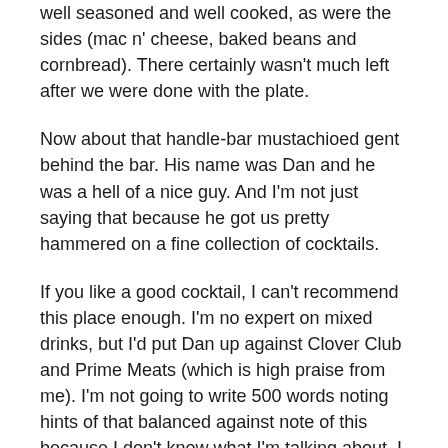well seasoned and well cooked, as were the sides (mac n' cheese, baked beans and cornbread). There certainly wasn't much left after we were done with the plate.
Now about that handle-bar mustachioed gent behind the bar. His name was Dan and he was a hell of a nice guy. And I'm not just saying that because he got us pretty hammered on a fine collection of cocktails.
If you like a good cocktail, I can't recommend this place enough. I'm no expert on mixed drinks, but I'd put Dan up against Clover Club and Prime Meats (which is high praise from me). I'm not going to write 500 words noting hints of that balanced against note of this because I don't know what I'm talking about. I just know what I like, and all of the cocktails we tried at Fort Reno (and we went through